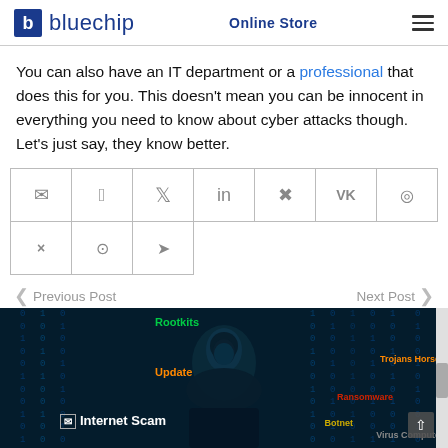bluechip | Online Store
You can also have an IT department or a professional that does this for you. This doesn't mean you can be innocent in everything you need to know about cyber attacks though. Let's just say, they know better.
[Figure (infographic): Social media sharing icons row: email, facebook, twitter, linkedin, pinterest, vk, whatsapp, xing, reddit, telegram]
< Previous Post    Next Post >
[Figure (photo): Cybersecurity themed image: dark background with matrix-style binary code, hooded hacker silhouette, labels including Rootkits, Update, Internet Scam, Trojans Horse, Botnet, Virus Computer]